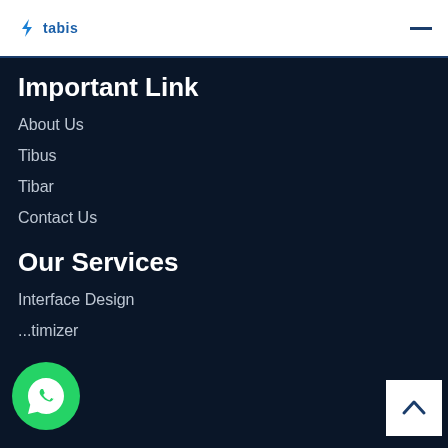[Figure (logo): Tabis logo with lightning bolt icon in blue on white header background]
Important Link
About Us
Tibus
Tibar
Contact Us
Our Services
Interface Design
...timizer
[Figure (illustration): Green WhatsApp circular button with phone handset icon, bottom left]
[Figure (illustration): White square scroll-to-top button with upward chevron arrow, bottom right]